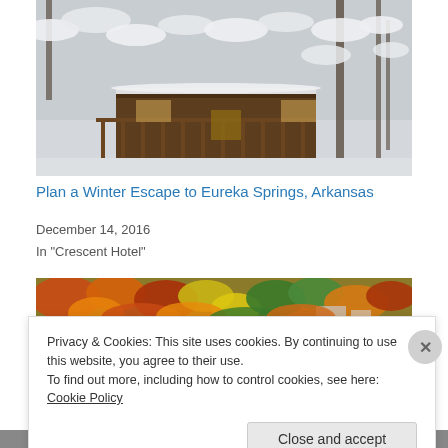[Figure (photo): Winter snow scene with a wooden treehouse or cabin structure surrounded by snow-covered trees]
Plan a Winter Escape to Eureka Springs, Arkansas
December 14, 2016
In "Crescent Hotel"
[Figure (photo): Aerial view of colorful autumn foliage covering hillsides with buildings visible below]
Privacy & Cookies: This site uses cookies. By continuing to use this website, you agree to their use.
To find out more, including how to control cookies, see here: Cookie Policy
Close and accept